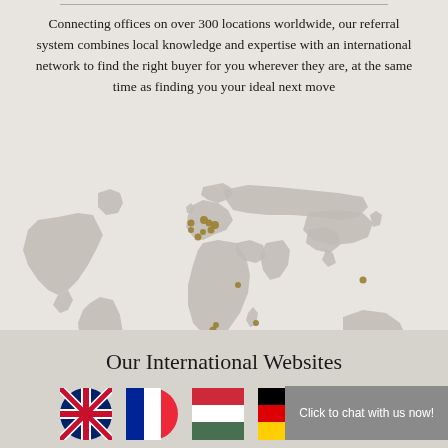Connecting offices on over 300 locations worldwide, our referral system combines local knowledge and expertise with an international network to find the right buyer for you wherever they are, at the same time as finding you your ideal next move
[Figure (map): World map in grey with gold/dark dots marking office locations, concentrated in Europe and southern Africa, with a few in Asia, Australia, and Americas]
Our International Websites
[Figure (infographic): Row of circular country flag icons: UK (Union Jack), France, Hungary, Germany, Spain, with a grey chat bubble saying 'Click to chat with us now!']